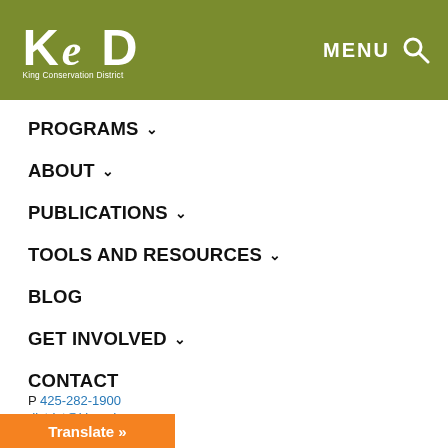King Conservation District — MENU (search)
PROGRAMS
ABOUT
PUBLICATIONS
TOOLS AND RESOURCES
BLOG
GET INVOLVED
CONTACT
P 425-282-1900
district@kingcd.org
Suite 150
Translate »